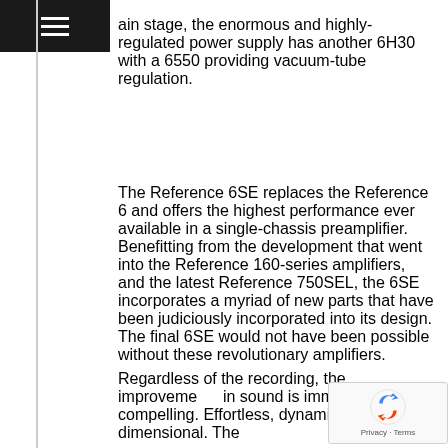ain stage, the enormous and highly-regulated power supply has another 6H30 with a 6550 providing vacuum-tube regulation.
The Reference 6SE replaces the Reference 6 and offers the highest performance ever available in a single-chassis preamplifier. Benefitting from the development that went into the Reference 160-series amplifiers, and the latest Reference 750SEL, the 6SE incorporates a myriad of new parts that have been judiciously incorporated into its design. The final 6SE would not have been possible without these revolutionary amplifiers.
Regardless of the recording, the improvements in sound is immediate and compelling. Effortless, dynamic and dimensional. The